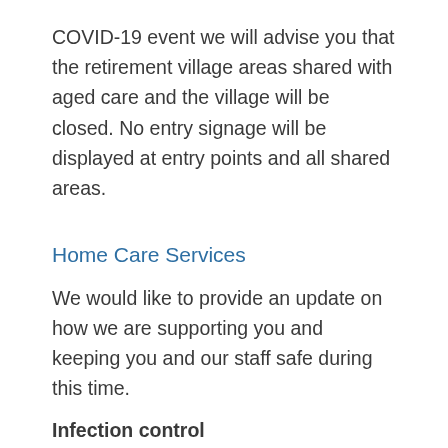COVID-19 event we will advise you that the retirement village areas shared with aged care and the village will be closed. No entry signage will be displayed at entry points and all shared areas.
Home Care Services
We would like to provide an update on how we are supporting you and keeping you and our staff safe during this time.
Infection control